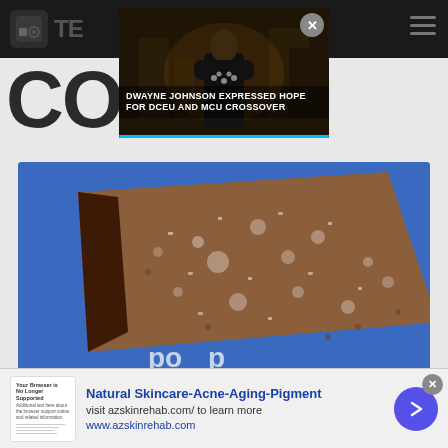[Figure (screenshot): Screenshot of a news/entertainment website on mobile, showing a video ad overlay for a Dwayne Johnson DCEU/MCU crossover story, a partially visible site header reading 'CO', a main article image of a Pop-Tart close-up on blue background, the article title 'Pop-Tarts Reviving A Fan Favorite Flavor', and a bottom banner ad for 'Natural Skincare-Acne-Aging-Pigment' from azskinrehab.com]
DWAYNE JOHNSON EXPRESSED HOPE FOR DCEU AND MCU CROSSOVER
Pop-Tarts Reviving A Fan Favorite Flavor
Natural Skincare-Acne-Aging-Pigment
visit azskinrehab.com/ to learn more
www.azskinrehab.com